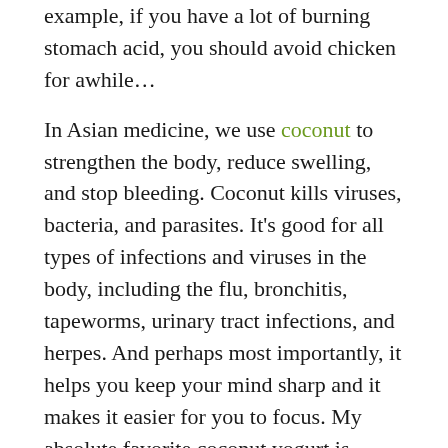example, if you have a lot of burning stomach acid, you should avoid chicken for awhile…
In Asian medicine, we use coconut to strengthen the body, reduce swelling, and stop bleeding. Coconut kills viruses, bacteria, and parasites. It's good for all types of infections and viruses in the body, including the flu, bronchitis, tapeworms, urinary tract infections, and herpes. And perhaps most importantly, it helps you keep your mind sharp and it makes it easier for you to focus. My absolute favorite coconut yogurt is Anita's (see recipe below for link).
Oregano is a powerful antioxidant and it is great at fighting bacteria. It's also known as an